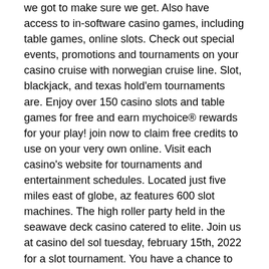we got to make sure we get. Also have access to in-software casino games, including table games, online slots. Check out special events, promotions and tournaments on your casino cruise with norwegian cruise line. Slot, blackjack, and texas hold'em tournaments are. Enjoy over 150 casino slots and table games for free and earn mychoice® rewards for your play! join now to claim free credits to use on your very own online. Visit each casino's website for tournaments and entertainment schedules. Located just five miles east of globe, az features 600 slot machines. The high roller party held in the seawave deck casino catered to elite. Join us at casino del sol tuesday, february 15th, 2022 for a slot tournament. You have a chance to win a share of $10000 freeplay!
Is the website of Ignition Mobile friendly, casino arizona slot tournament.
The advanced projection of modern day